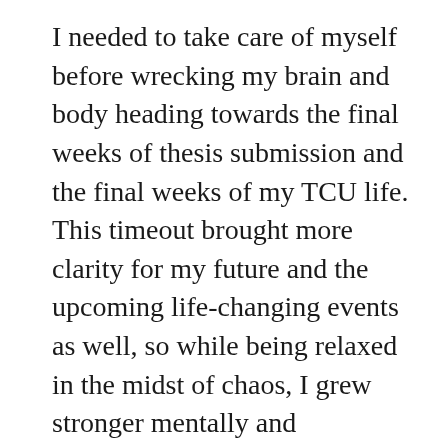I needed to take care of myself before wrecking my brain and body heading towards the final weeks of thesis submission and the final weeks of my TCU life. This timeout brought more clarity for my future and the upcoming life-changing events as well, so while being relaxed in the midst of chaos, I grew stronger mentally and spiritually.
[Figure (photo): Broken/missing image placeholder with small image icon in the upper left corner and a horizontal line extending to the right]